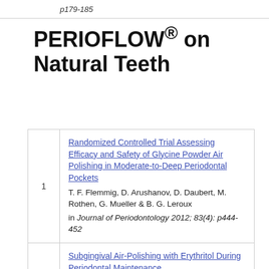p179-185
PERIOFLOW® on Natural Teeth
1. Randomized Controlled Trial Assessing Efficacy and Safety of Glycine Powder Air Polishing in Moderate-to-Deep Periodontal Pockets. T. F. Flemmig, D. Arushanov, D. Daubert, M. Rothen, G. Mueller & B. G. Leroux in Journal of Periodontology 2012; 83(4): p444-452
Subgingival Air-Polishing with Erythritol During Periodontal Maintenance